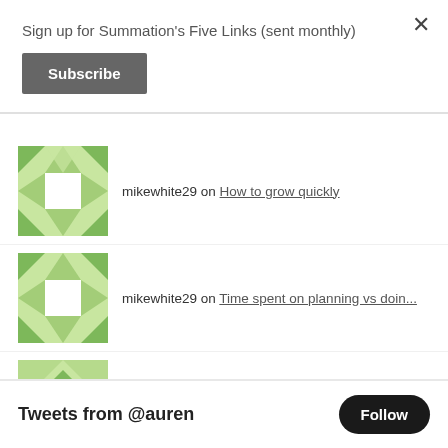Sign up for Summation's Five Links (sent monthly)
Subscribe
mikewhite29 on How to grow quickly
mikewhite29 on Time spent on planning vs doin...
Ulrike Handel on A Manual For The Low-EQ CEO
mikewhite29 on How to pick a college major (a...
Erik on All-around athletes are more v...
Tweets from @auren
Follow